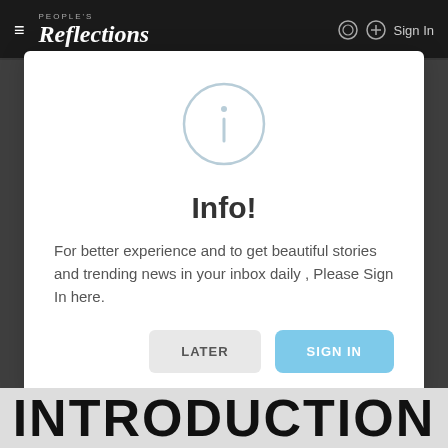≡ People's Reflections   Sign In
[Figure (screenshot): Info modal dialog with a circular info icon (letter i in a circle), title 'Info!', body text about signing in, and two buttons: 'LATER' and 'SIGN IN']
Info!
For better experience and to get beautiful stories and trending news in your inbox daily , Please Sign In here.
LATER
SIGN IN
INTRODUCTION